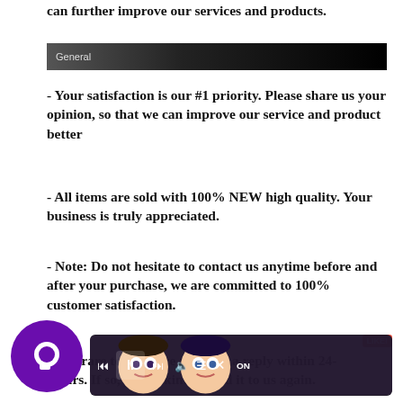can further improve our services and products.
General
- Your satisfaction is our #1 priority. Please share us your opinion, so that we can improve our service and product better
- All items are sold with 100% NEW high quality. Your business is truly appreciated.
- Note: Do not hesitate to contact us anytime before and after your purchase, we are committed to 100% customer satisfaction.
- It is rare to not have received a reply within 24-Hours. If so, please kindly send it to us again.
u would convenience, p...